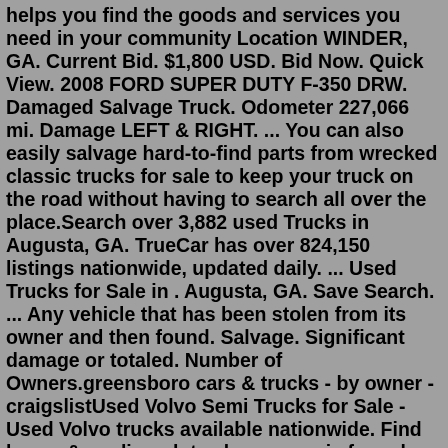helps you find the goods and services you need in your community Location WINDER, GA. Current Bid. $1,800 USD. Bid Now. Quick View. 2008 FORD SUPER DUTY F-350 DRW. Damaged Salvage Truck. Odometer 227,066 mi. Damage LEFT & RIGHT. ... You can also easily salvage hard-to-find parts from wrecked classic trucks for sale to keep your truck on the road without having to search all over the place.Search over 3,882 used Trucks in Augusta, GA. TrueCar has over 824,150 listings nationwide, updated daily. ... Used Trucks for Sale in . Augusta, GA. Save Search. ... Any vehicle that has been stolen from its owner and then found. Salvage. Significant damage or totaled. Number of Owners.greensboro cars & trucks - by owner - craigslistUsed Volvo Semi Trucks for Sale - Used Volvo trucks available nationwide. Find heavy & medium duty sleeper semis for sale near you. ... 2013 Volvo VNL 670 10 Speed Manual Sleeper Cab Semi Truck for Sale in Georgia! Item No: GA-ST-361S2 ... 5 Helpful Tips Every Ice Cream Food Truck Owner Should Know. How to Set